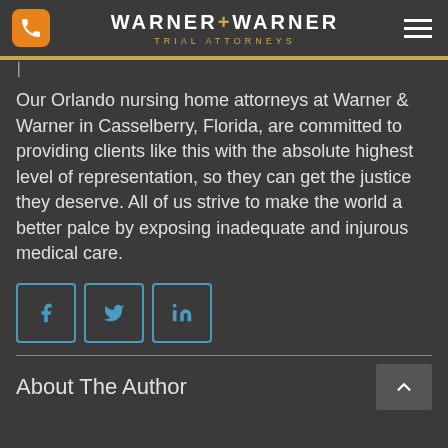WARNER+WARNER TRIAL ATTORNEYS
Our Orlando nursing home attorneys at Warner & Warner in Casselberry, Florida, are committed to providing clients like this with the absolute highest level of representation, so they can get the justice they deserve. All of us strive to make the world a better palce by exposing inadequate and injurous medical care.
[Figure (illustration): Social media share buttons: Facebook, Twitter, LinkedIn]
About The Author